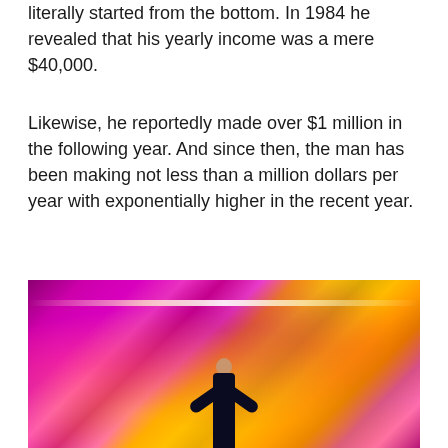literally started from the bottom. In 1984 he revealed that his yearly income was a mere $40,000.
Likewise, he reportedly made over $1 million in the following year. And since then, the man has been making not less than a million dollars per year with exponentially higher in the recent year.
[Figure (photo): A performer on stage with arms raised before a large crowd of audience members illuminated in pink/magenta and yellow/orange lights.]